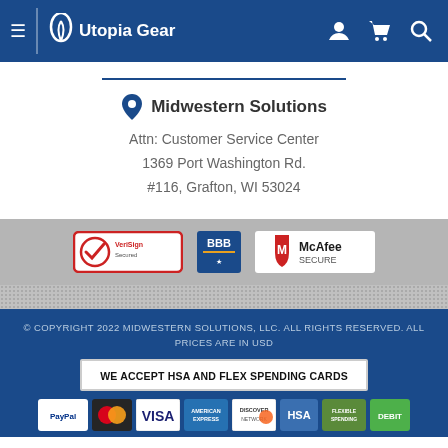Utopia Gear — navigation bar with hamburger menu, logo, user icon, cart icon, search icon
Midwestern Solutions
Attn: Customer Service Center
1369 Port Washington Rd.
#116, Grafton, WI 53024
[Figure (logo): Trust badges: VeriSign Secured, BBB, McAfee SECURE]
© COPYRIGHT 2022 MIDWESTERN SOLUTIONS, LLC. ALL RIGHTS RESERVED. ALL PRICES ARE IN USD
WE ACCEPT HSA AND FLEX SPENDING CARDS
[Figure (logo): Payment icons: PayPal, Mastercard, VISA, American Express, Discover Network, HSA, Flex Spending Account, Debit]